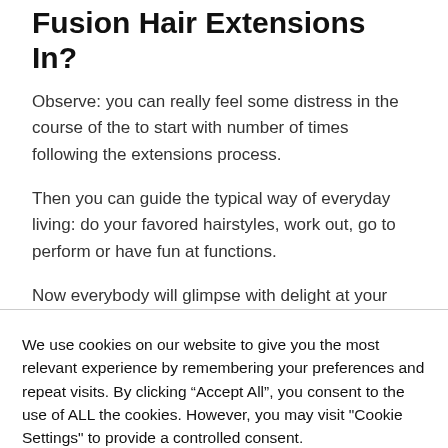Fusion Hair Extensions In?
Observe: you can really feel some distress in the course of the to start with number of times following the extensions process.
Then you can guide the typical way of everyday living: do your favored hairstyles, work out, go to perform or have fun at functions.
Now everybody will glimpse with delight at your
We use cookies on our website to give you the most relevant experience by remembering your preferences and repeat visits. By clicking “Accept All”, you consent to the use of ALL the cookies. However, you may visit "Cookie Settings" to provide a controlled consent.
Cookie Settings | Accept All